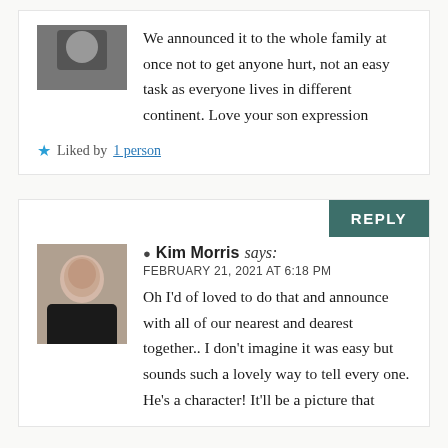We announced it to the whole family at once not to get anyone hurt, not an easy task as everyone lives in different continent. Love your son expression
Liked by 1 person
Kim Morris says:
FEBRUARY 21, 2021 AT 6:18 PM
Oh I'd of loved to do that and announce with all of our nearest and dearest together.. I don't imagine it was easy but sounds such a lovely way to tell every one.
He's a character! It'll be a picture that